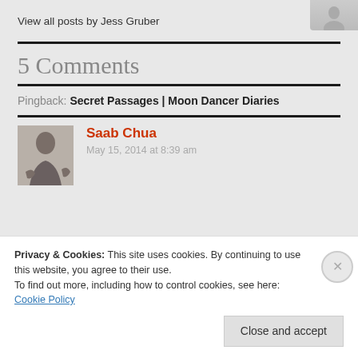View all posts by Jess Gruber
5 Comments
Pingback: Secret Passages | Moon Dancer Diaries
Saab Chua
May 15, 2014 at 8:39 am
Privacy & Cookies: This site uses cookies. By continuing to use this website, you agree to their use.
To find out more, including how to control cookies, see here: Cookie Policy
Close and accept